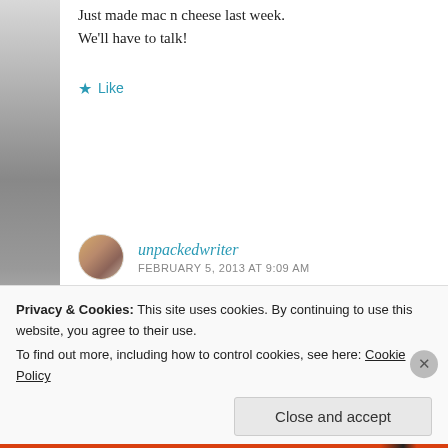Just made mac n cheese last week.
We'll have to talk!
Like
unpackedwriter
FEBRUARY 5, 2013 AT 9:09 AM
Thank you! Looking forward to M
Like
Privacy & Cookies: This site uses cookies. By continuing to use this website, you agree to their use.
To find out more, including how to control cookies, see here: Cookie Policy
Close and accept